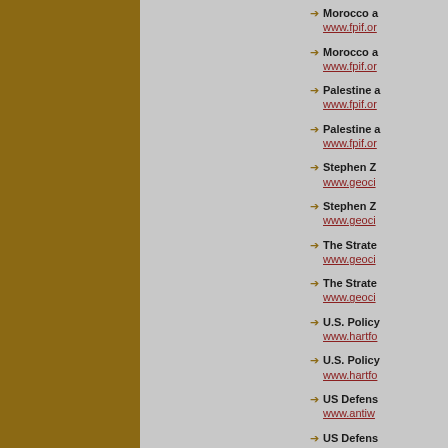Morocco a
www.fpif.or
Morocco a
www.fpif.or
Palestine a
www.fpif.or
Palestine a
www.fpif.or
Stephen Z
www.geoci
Stephen Z
www.geoci
The Strate
www.geoci
The Strate
www.geoci
U.S. Policy
www.hartfo
U.S. Policy
www.hartfo
US Defens
www.antiw
US Defens
www.antiw
US Double
www.thena